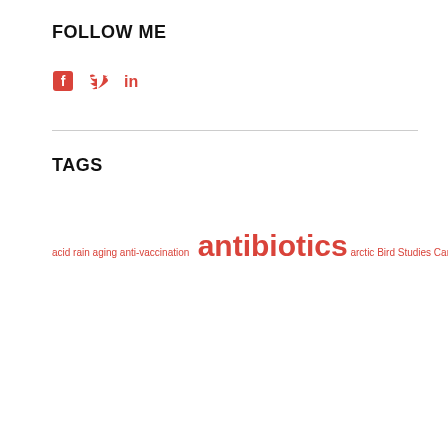FOLLOW ME
[Figure (other): Social media icons: Facebook, Twitter, LinkedIn in red]
TAGS
acid rain aging anti-vaccination antibiotics arctic Bird Studies Canada cadmium telluride Canada Canadian Lakes Loon Survey cancer cannabis cell biology chemical ecology chocolate milk citizen science climate common loon coronavirus COVID-19 Darwin Dawkins discovery disease drug dependence drugs Ebola environment epidemic epidemiology epilepsy Epstein-Barr virus evidence fraud greenhouse gases H1N1 herd immunity history of medicine hot flashes inflammatory bowel disease influenza international energy agency journals Kuhn lung cancer maple syrup marijuana